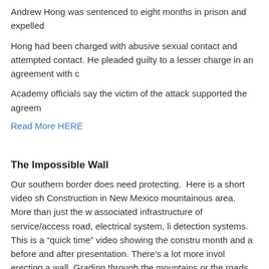Andrew Hong was sentenced to eight months in prison and expelled
Hong had been charged with abusive sexual contact and attempted contact. He pleaded guilty to a lesser charge in an agreement with c
Academy officials say the victim of the attack supported the agreem
Read More HERE
The Impossible Wall
Our southern border does need protecting.  Here is a short video sh Construction in New Mexico mountainous area. More than just the w associated infrastructure of service/access road, electrical system, li detection systems. This is a “quick time” video showing the constru month and a before and after presentation. There’s a lot more invol erecting a wall. Grading through the mountains or the roads, fiber o